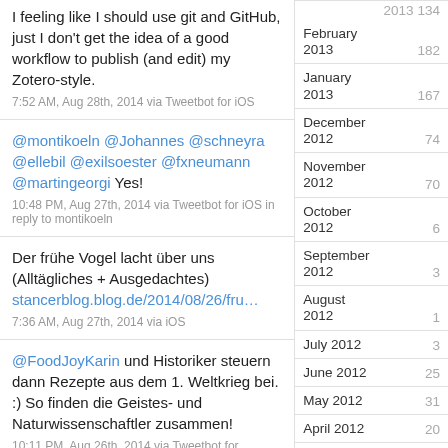I feeling like I should use git and GitHub, just I don't get the idea of a good workflow to publish (and edit) my Zotero-style.
7:52 AM, Aug 28th, 2014 via Tweetbot for iOS
@montikoeln @Johannes @schneyra @ellebil @exilsoester @fxneumann @martingeorgi Yes!
10:48 PM, Aug 27th, 2014 via Tweetbot for iOS in reply to montikoeln
Der frühe Vogel lacht über uns (Alltägliches + Ausgedachtes) stancerblog.blog.de/2014/08/26/fru…
7:36 AM, Aug 27th, 2014 via iOS
@FoodJoyKarin und Historiker steuern dann Rezepte aus dem 1. Weltkrieg bei. :) So finden die Geistes- und Naturwissenschaftler zusammen!
10:11 PM, Aug 26th, 2014 via Tweetbot for
February 2013   182
January 2013   167
December 2012   74
November 2012   70
October 2012   6
September 2012   3
August 2012   1
July 2012   3
June 2012   25
May 2012   31
April 2012   20
March 2012   97